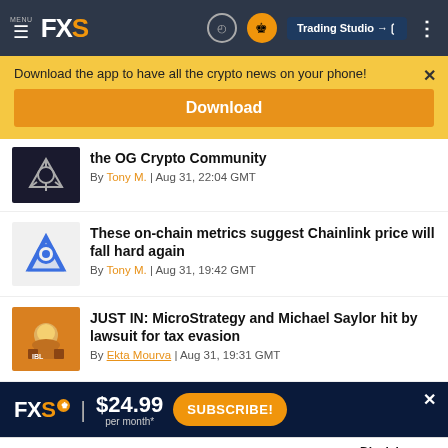MENU FXS | Trading Studio
Download the app to have all the crypto news on your phone!
Download
the OG Crypto Community
By Tony M. | Aug 31, 22:04 GMT
These on-chain metrics suggest Chainlink price will fall hard again
By Tony M. | Aug 31, 19:42 GMT
JUST IN: MicroStrategy and Michael Saylor hit by lawsuit for tax evasion
By Ekta Mourva | Aug 31, 19:31 GMT
FXS | $24.99 per month* | SUBSCRIBE!
©2022 "FXStreet" All Rights Reserved    Disclaimer ▲